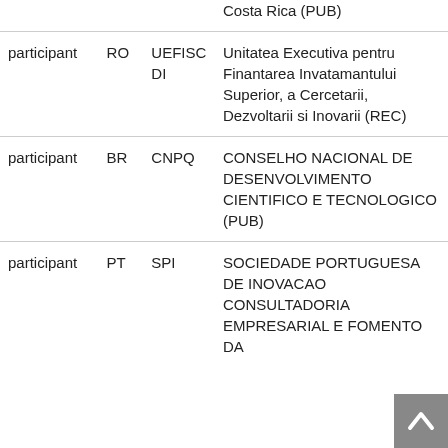| role | country | short name | full name |
| --- | --- | --- | --- |
|  |  |  | Costa Rica (PUB) |
| participant | RO | UEFISCDI | Unitatea Executiva pentru Finantarea Invatamantului Superior, a Cercetarii, Dezvoltarii si Inovarii (REC) |
| participant | BR | CNPQ | CONSELHO NACIONAL DE DESENVOLVIMENTO CIENTIFICO E TECNOLOGICO (PUB) |
| participant | PT | SPI | SOCIEDADE PORTUGUESA DE INOVACAO CONSULTADORIA EMPRESARIAL E FOMENTO DA |